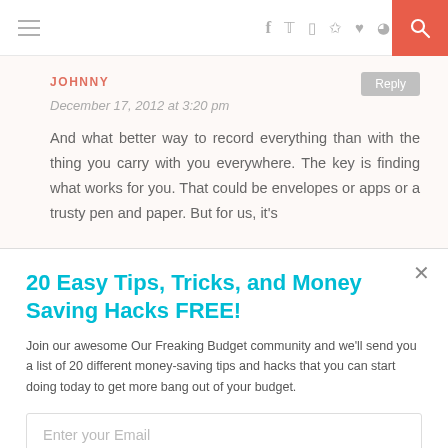Navigation bar with hamburger menu, social icons (f, twitter, instagram, pinterest, heart, rss), and search button
JOHNNY
Reply
December 17, 2012 at 3:20 pm
And what better way to record everything than with the thing you carry with you everywhere. The key is finding what works for you. That could be envelopes or apps or a trusty pen and paper. But for us, it's
20 Easy Tips, Tricks, and Money Saving Hacks FREE!
Join our awesome Our Freaking Budget community and we'll send you a list of 20 different money-saving tips and hacks that you can start doing today to get more bang out of your budget.
Enter your Email
Sign Me Up!